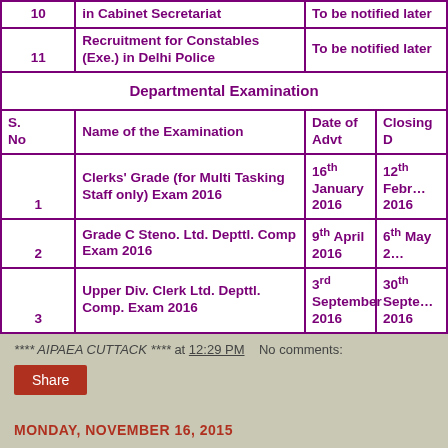| S. No | Name of the Examination | Date of Advt | Closing D |
| --- | --- | --- | --- |
| 10 | in Cabinet Secretariat | To be notified later |  |
| 11 | Recruitment for Constables (Exe.) in Delhi Police | To be notified later |  |
|  | Departmental Examination |  |  |
| S. No | Name of the Examination | Date of Advt | Closing D |
| 1 | Clerks' Grade (for Multi Tasking Staff only) Exam 2016 | 16th January 2016 | 12th February 2016 |
| 2 | Grade C Steno. Ltd. Depttl. Comp Exam 2016 | 9th April 2016 | 6th May 2... |
| 3 | Upper Div. Clerk Ltd. Depttl. Comp. Exam 2016 | 3rd September 2016 | 30th September 2016 |
**** AIPAEA CUTTACK **** at 12:29 PM    No comments:
Share
MONDAY, NOVEMBER 16, 2015